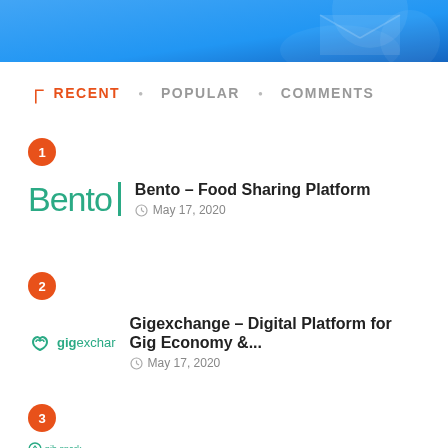[Figure (illustration): Blue gradient banner at top of page]
RECENT • POPULAR • COMMENTS
Bento – Food Sharing Platform, May 17, 2020
Gigexchange – Digital Platform for Gig Economy &..., May 17, 2020
Item 3 (logo partially visible)